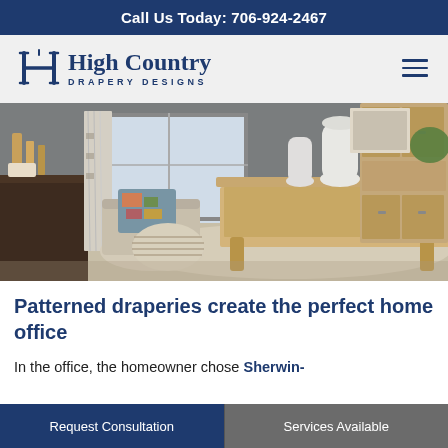Call Us Today: 706-924-2467
[Figure (logo): High Country Drapery Designs logo with stylized H emblem and hamburger menu icon]
[Figure (photo): Interior home office scene with patterned draperies, wooden desk with vases, cozy chair with decorative pillow, neutral rug, and wooden furniture against gray walls]
Patterned draperies create the perfect home office
In the office, the homeowner chose Sherwin-
Request Consultation | Services Available